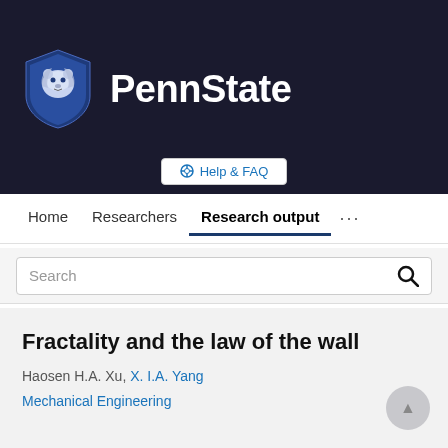[Figure (logo): Penn State logo with lion shield and PennState wordmark on dark background]
Help & FAQ
Home   Researchers   Research output   ...
Search
Fractality and the law of the wall
Haosen H.A. Xu, X. I.A. Yang
Mechanical Engineering